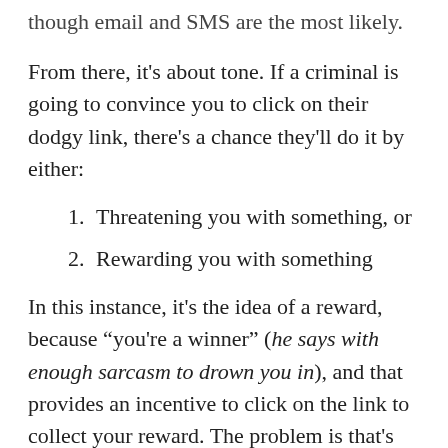though email and SMS are the most likely.
From there, it's about tone. If a criminal is going to convince you to click on their dodgy link, there's a chance they'll do it by either:
Threatening you with something, or
Rewarding you with something
In this instance, it's the idea of a reward, because "you're a winner" (he says with enough sarcasm to drown you in), and that provides an incentive to click on the link to collect your reward. The problem is that's the lure and bait, and the result isn't necessarily going to be what you think.
“SMS scams are very common, as scammers attempt to take advantage of the fact that people almost always have their phones in arms reach, and exploit the quick